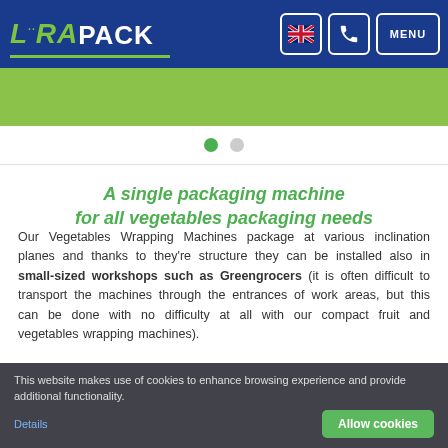LORAPACK – navigation bar with logo, UK flag, phone and menu buttons
[Figure (screenshot): Green banner slideshow area with navigation dots (active and inactive)]
A single packaging machine for all vegetables packaging needs
Our Vegetables Wrapping Machines package at various inclination planes and thanks to they're structure they can be installed also in small-sized workshops such as Greengrocers (it is often difficult to transport the machines through the entrances of work areas, but this can be done with no difficulty at all with our compact fruit and vegetables wrapping machines).
This website makes use of cookies to enhance browsing experience and provide additional functionality. Details | Allow cookies